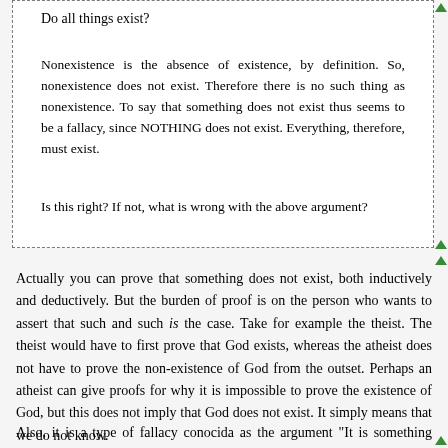Do all things exist?
Nonexistence is the absence of existence, by definition. So, nonexistence does not exist. Therefore there is no such thing as nonexistence. To say that something does not exist thus seems to be a fallacy, since NOTHING does not exist. Everything, therefore, must exist.
Is this right? If not, what is wrong with the above argument?
Actually you can prove that something does not exist, both inductively and deductively. But the burden of proof is on the person who wants to assert that such and such is the case. Take for example the theist. The theist would have to first prove that God exists, whereas the atheist does not have to prove the non-existence of God from the outset. Perhaps an atheist can give proofs for why it is impossible to prove the existence of God, but this does not imply that God does not exist. It simply means that we do not know.
Also, it is a type of fallacy conocida as the argument "It is something therefore d